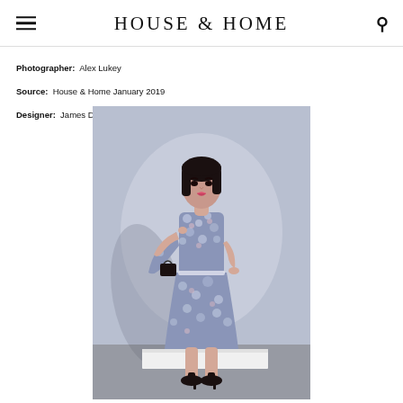HOUSE & HOME
Photographer: Alex Lukey
Source: House & Home January 2019
Designer: James Davie
[Figure (photo): A woman wearing a floral blue and white printed dress with matching jacket draped over one arm, holding a small black bag, standing on a white platform against a light blue-grey background.]